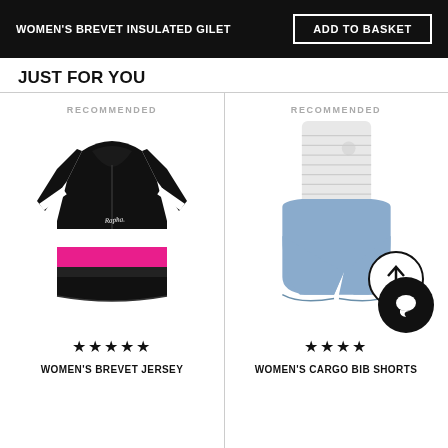WOMEN'S BREVET INSULATED GILET
JUST FOR YOU
RECOMMENDED
[Figure (photo): Women's cycling jersey in black with white and pink horizontal stripes, short sleeves, Rapha logo]
★★★★★
WOMEN'S BREVET JERSEY
RECOMMENDED
[Figure (photo): Women's bib shorts in light blue with white striped top, with an upward arrow circle icon overlay and chat bubble icon]
★★★★
WOMEN'S CARGO BIB SHORTS